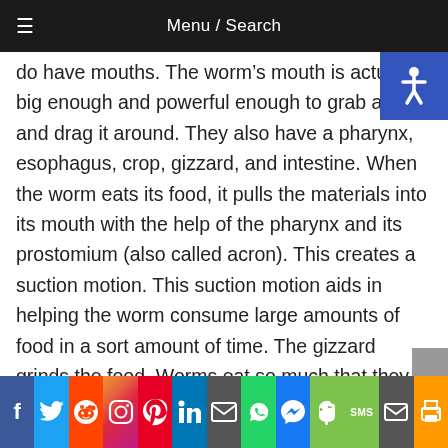Menu / Search
do have mouths. The worm’s mouth is actually big enough and powerful enough to grab a leaf and drag it around. They also have a pharynx, esophagus, crop, gizzard, and intestine. When the worm eats its food, it pulls the materials into its mouth with the help of the pharynx and its prostomium (also called acron). This creates a suction motion. This suction motion aids in helping the worm consume large amounts of food in a sort amount of time. The gizzard grinds the food. Worms eat so much that they typically produce excrement equal to their own weight every 24 hours.
f | Twitter | Reddit | Instagram | Pinterest | LinkedIn | Email | WhatsApp | Messenger | Evernote | SMS | Mail | Print